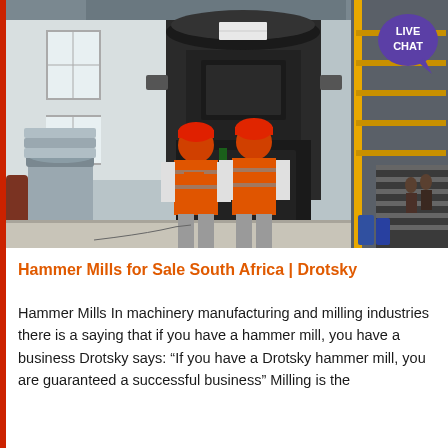[Figure (photo): Two workers in orange high-visibility vests and red hard hats standing in front of a large industrial milling machine in a factory/warehouse setting. Ductwork and industrial equipment visible around them.]
Hammer Mills for Sale South Africa | Drotsky
Hammer Mills In machinery manufacturing and milling industries there is a saying that if you have a hammer mill, you have a business Drotsky says: “If you have a Drotsky hammer mill, you are guaranteed a successful business” Milling is the